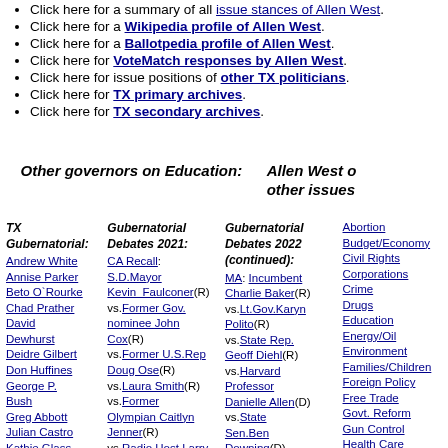Click here for a summary of all issue stances of Allen West.
Click here for a Wikipedia profile of Allen West.
Click here for a Ballotpedia profile of Allen West.
Click here for VoteMatch responses by Allen West.
Click here for issue positions of other TX politicians.
Click here for TX primary archives.
Click here for TX secondary archives.
Other governors on Education:
Allen West on other issues:
TX Gubernatorial: Andrew White, Annise Parker, Beto O`Rourke, Chad Prather, David Dewhurst, Deidre Gilbert, Don Huffines, George P. Bush, Greg Abbott, Julian Castro, Kathie Glass, Lupe Valdez, Mike Rawlings, TX Senatorial: Beto O`Rourke
Gubernatorial Debates 2021: CA Recall: S.D.Mayor Kevin_Faulconer(R) vs.Former Gov. nominee John Cox(R) vs.Former U.S.Rep Doug Ose(R) vs.Laura Smith(R) vs.Former Olympian Caitlyn Jenner(R) vs.Radio Host Larry Elder(R) NJ: Incumbent Phil Murphy(D) vs.State Rep. Jack Ciattarelli(R) vs.Candidate Hirsh
Gubernatorial Debates 2022 (continued): MA: Incumbent Charlie Baker(R) vs.Lt.Gov.Karyn Polito(R) vs.State Rep. Geoff Diehl(R) vs.Harvard Professor Danielle Allen(D) vs.State Sen.Ben Downing(D) vs.State Sen.Sonia Chang-Diaz(D) MD: Incumbent Larry Hogan(R term-
Abortion, Budget/Economy, Civil Rights, Corporations, Crime, Drugs, Education, Energy/Oil, Environment, Families/Children, Foreign Policy, Free Trade, Govt. Reform, Gun Control, Health Care, Homeland Security, Immigration, Infrastructure/Techn, Jobs